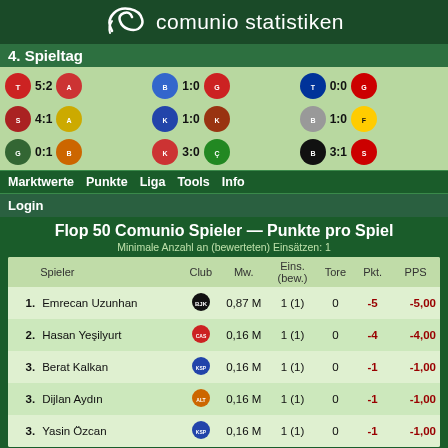comunio statistiken
4. Spieltag
[Figure (infographic): Match results for Spieltag 4: scores 5:2, 1:0, 0:0, 4:1, 1:0, 1:0, 0:1, 3:0, 3:1 with club logos]
Marktwerte  Punkte  Liga  Tools  Info
Login
Flop 50 Comunio Spieler — Punkte pro Spiel
Minimale Anzahl an (bewerteten) Einsätzen: 1
|  | Spieler | Club | Mw. | Eins.
(bew.) | Tore | Pkt. | PPS |
| --- | --- | --- | --- | --- | --- | --- | --- |
| 1. | Emrecan Uzunhan | [Beşiktaş] | 0,87 M | 1 (1) | 0 | -5 | -5,00 |
| 2. | Hasan Yeşilyurt | [Club] | 0,16 M | 1 (1) | 0 | -4 | -4,00 |
| 3. | Berat Kalkan | [Club] | 0,16 M | 1 (1) | 0 | -1 | -1,00 |
| 3. | Dijlan Aydın | [Club] | 0,16 M | 1 (1) | 0 | -1 | -1,00 |
| 3. | Yasin Özcan | [Club] | 0,16 M | 1 (1) | 0 | -1 | -1,00 |